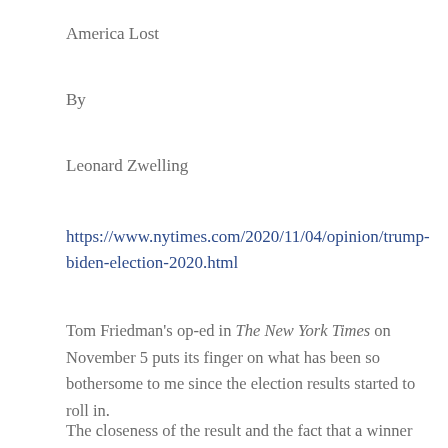America Lost
By
Leonard Zwelling
https://www.nytimes.com/2020/11/04/opinion/trump-biden-election-2020.html
Tom Friedman’s op-ed in The New York Times on November 5 puts its finger on what has been so bothersome to me since the election results started to roll in.
The closeness of the result and the fact that a winner had